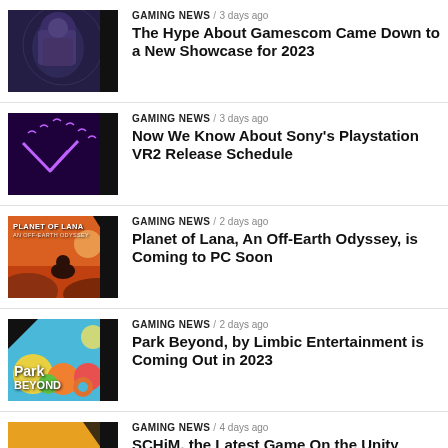[Figure (screenshot): Gaming news article thumbnail - dark background with person]
The Hype About Gamescom Came Down to a New Showcase for 2023
[Figure (screenshot): Gaming news thumbnail - purple/dark background with V shape]
GAMING NEWS / 3 days ago
Now We Know About Sony's Playstation VR2 Release Schedule
[Figure (screenshot): Planet of Lana game cover - orange sky]
GAMING NEWS / 2 days ago
Planet of Lana, An Off-Earth Odyssey, is Coming to PC Soon
[Figure (screenshot): Park Beyond game cover - colorful theme park]
GAMING NEWS / 2 days ago
Park Beyond, by Limbic Entertainment is Coming Out in 2023
[Figure (screenshot): SCHiM game cover - orange background with SCHiM text]
GAMING NEWS / 4 days ago
SCHiM, the Latest Game On the Unity Engine, Coming Soon
[Figure (screenshot): Partial thumbnail - blue diagonal shape]